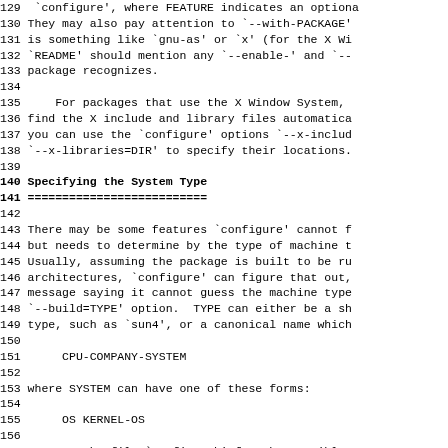129  `configure', where FEATURE indicates an optio
130 They may also pay attention to `--with-PACKAGE
131 is something like `gnu-as' or `x' (for the X Wi
132 `README' should mention any `--enable-' and `--
133 package recognizes.
135     For packages that use the X Window System,
136 find the X include and library files automatica
137 you can use the `configure' options `--x-includ
138 `--x-libraries=DIR' to specify their locations.
140 Specifying the System Type
141 ==========================
143 There may be some features `configure' cannot f
144 but needs to determine by the type of machine t
145 Usually, assuming the package is built to be ru
146 architectures, `configure' can figure that out,
147 message saying it cannot guess the machine type
148 `--build=TYPE' option.  TYPE can either be a sh
149 type, such as `sun4', or a canonical name which
151      CPU-COMPANY-SYSTEM
153 where SYSTEM can have one of these forms:
155      OS KERNEL-OS
157     See the file `config.sub' for the possible v
158 `config.sub' isn't included in this package, th
159 need to know the machine type.